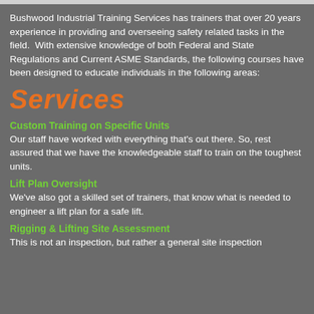Bushwood Industrial Training Services has trainers that over 20 years experience in providing and overseeing safety related tasks in the field. With extensive knowledge of both Federal and State Regulations and Current ASME Standards, the following courses have been designed to educate individuals in the following areas:
Services
Custom Training on Specific Units
Our staff have worked with everything that's out there. So, rest assured that we have the knowledgeable staff to train on the toughest units.
Lift Plan Oversight
We've also got a skilled set of trainers, that know what is needed to engineer a lift plan for a safe lift.
Rigging & Lifting Site Assessment
This is not an inspection, but rather a general site inspection